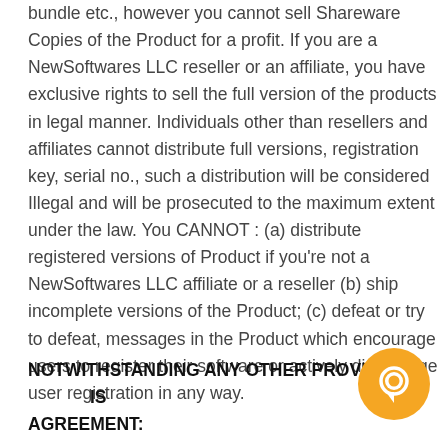bundle etc., however you cannot sell Shareware Copies of the Product for a profit. If you are a NewSoftwares LLC reseller or an affiliate, you have exclusive rights to sell the full version of the products in legal manner. Individuals other than resellers and affiliates cannot distribute full versions, registration key, serial no., such a distribution will be considered Illegal and will be prosecuted to the maximum extent under the law. You CANNOT : (a) distribute registered versions of Product if you're not a NewSoftwares LLC affiliate or a reseller (b) ship incomplete versions of the Product; (c) defeat or try to defeat, messages in the Product which encourage users to register their software or actively discourage user registration in any way.
NOTWITHSTANDING ANY OTHER PROVISIONS OF THIS AGREEMENT:
[Figure (illustration): Orange circular chat/message icon button in bottom right corner]